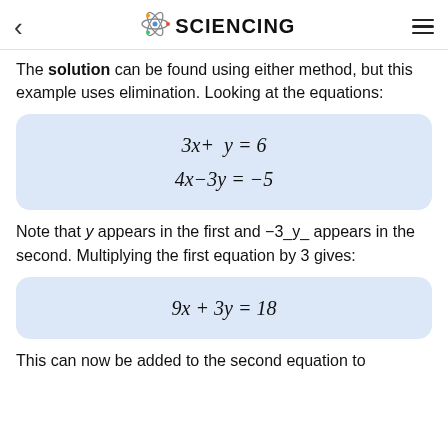< SCIENCING ≡
The solution can be found using either method, but this example uses elimination. Looking at the equations:
Note that y appears in the first and −3_y_ appears in the second. Multiplying the first equation by 3 gives:
This can now be added to the second equation to